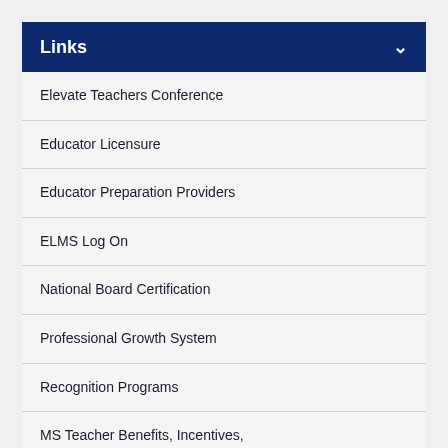Links
Elevate Teachers Conference
Educator Licensure
Educator Preparation Providers
ELMS Log On
National Board Certification
Professional Growth System
Recognition Programs
MS Teacher Benefits, Incentives, Scholarships and Loan Forgiveness
State Plan to Ensure Equitable Access to Excellent Educators
Mentoring and Induction Program
United States Senate Youth Program